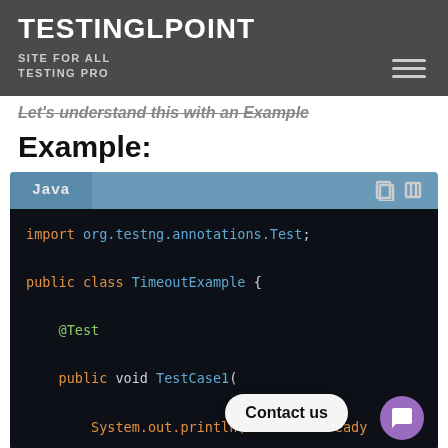TESTINGLPOINT
SITE FOR ALL TESTING PRO
Let's understand this with an Example
Example:
[Figure (screenshot): Java code block showing: import org.testng.annotations.Test; public class TimeoutExample { @Test public void TestCase1( System.out.println("Testcase ready]